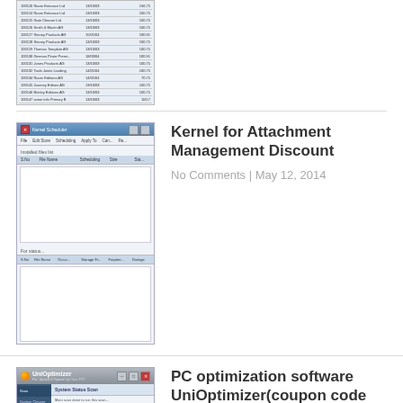[Figure (screenshot): Partial screenshot of a spreadsheet application showing rows of data with columns]
[Figure (screenshot): Screenshot of Kernel for Attachment Management software dialog box showing installed files and file lists]
Kernel for Attachment Management Discount
No Comments | May 12, 2014
[Figure (screenshot): Screenshot of UniOptimizer PC optimization software showing System Status Scan with green bullet points and red scan results]
PC optimization software UniOptimizer(coupon code included)
No Comments | May 8, 2014
Add a Comment